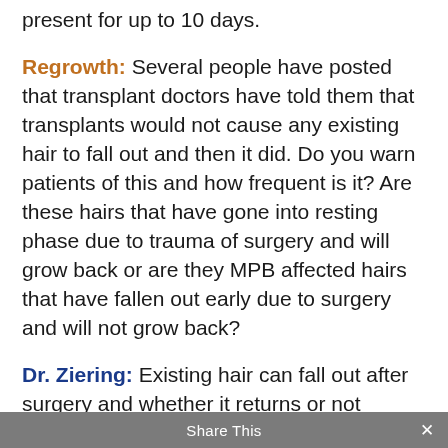present for up to 10 days.
Regrowth: Several people have posted that transplant doctors have told them that transplants would not cause any existing hair to fall out and then it did. Do you warn patients of this and how frequent is it? Are these hairs that have gone into resting phase due to trauma of surgery and will grow back or are they MPB affected hairs that have fallen out early due to surgery and will not grow back?
Dr. Ziering: Existing hair can fall out after surgery and whether it returns or not depends on if the hairs were programmed to fall out anyway (MPB). These hairs are weak and have a shortened anagen growth phase and if the transplants are in close
Share This